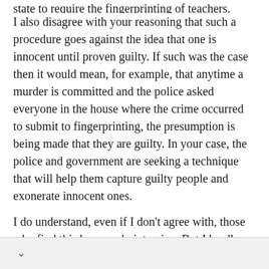state to require the fingerprinting of teachers.
I also disagree with your reasoning that such a procedure goes against the idea that one is innocent until proven guilty. If such was the case then it would mean, for example, that anytime a murder is committed and the police asked everyone in the house where the crime occurred to submit to fingerprinting, the presumption is being made that they are guilty. In your case, the police and government are seeking a technique that will help them capture guilty people and exonerate innocent ones.
I do understand, even if I don't agree with, those who find this law overly intrusive. But I hardly see it matter of such moral seriousness that it